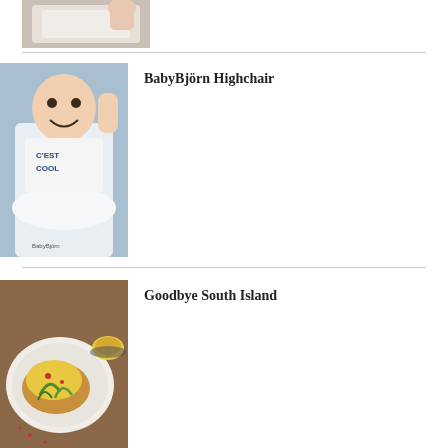[Figure (photo): Partial view of a baby in white clothing, top portion visible]
[Figure (photo): Baby in a white BabyBjörn highchair wearing a shirt that says C'est Cool, smiling with hand raised]
BabyBjörn Highchair
[Figure (photo): Plate of scrambled eggs on toast with greens and a small bowl of sauce on a wooden table]
Goodbye South Island